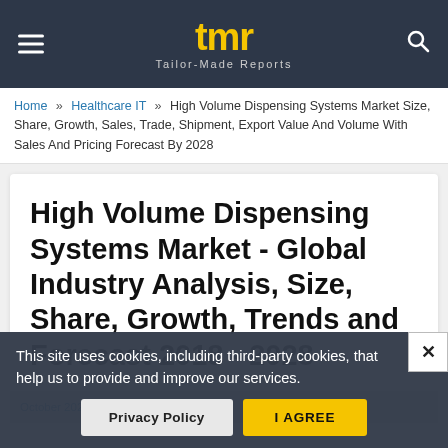[Figure (logo): TMR Tailor-Made Reports logo with yellow stylized letters and subtitle]
Home » Healthcare IT » High Volume Dispensing Systems Market Size, Share, Growth, Sales, Trade, Shipment, Export Value And Volume With Sales And Pricing Forecast By 2028
High Volume Dispensing Systems Market - Global Industry Analysis, Size, Share, Growth, Trends and Forecast 2018 - 2028
This site uses cookies, including third-party cookies, that help us to provide and improve our services.